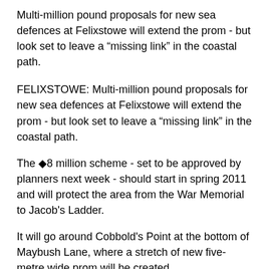Multi-million pound proposals for new sea defences at Felixstowe will extend the prom - but look set to leave a “missing link” in the coastal path.
FELIXSTOWE: Multi-million pound proposals for new sea defences at Felixstowe will extend the prom - but look set to leave a “missing link” in the coastal path.
The �8 million scheme - set to be approved by planners next week - should start in spring 2011 and will protect the area from the War Memorial to Jacob’s Ladder.
It will go around Cobbold’s Point at the bottom of Maybush Lane, where a stretch of new five-metre wide prom will be created.
However, despite pleas from conservation group The Felixstowe Society and residents, it looks unlikely to